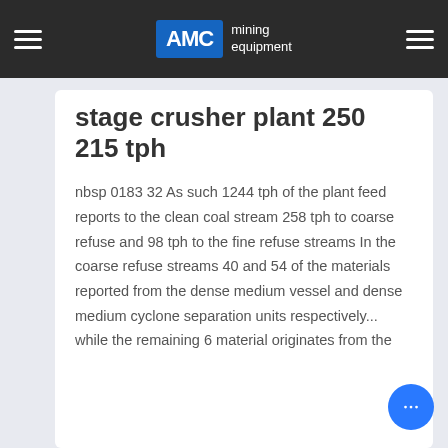AMC mining equipment
stage crusher plant 250 215 tph
nbsp 0183 32 As such 1244 tph of the plant feed reports to the clean coal stream 258 tph to coarse refuse and 98 tph to the fine refuse streams In the coarse refuse streams 40 and 54 of the materials reported from the dense medium vessel and dense medium cyclone separation units respectively... while the remaining 6 material originates from the